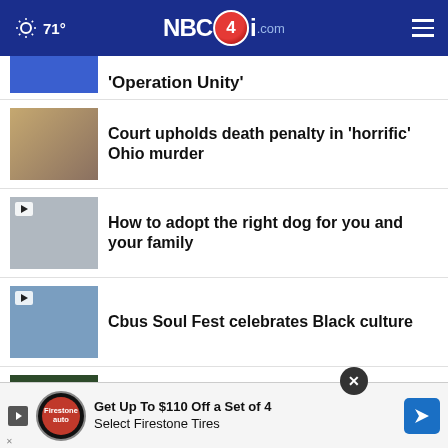71° NBC4i.com
'Operation Unity'
Court upholds death penalty in 'horrific' Ohio murder
How to adopt the right dog for you and your family
Cbus Soul Fest celebrates Black culture
Starbucks ordered to reinstate unionizing workers
Ohio's latest poll: DeWine, Vance and More here
15-year-old paralyzed in Ashburton
Get Up To $110 Off a Set of 4 Select Firestone Tires